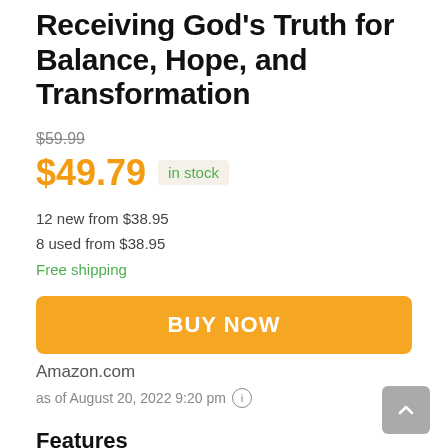Receiving God's Truth for Balance, Hope, and Transformation
$59.99
$49.79  in stock
12 new from $38.95
8 used from $38.95
Free shipping
[Figure (other): BUY NOW orange button]
Amazon.com
as of August 20, 2022 9:20 pm
Features
THOMAS NELSON